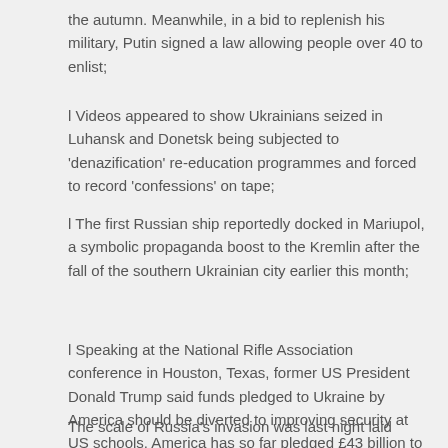the autumn. Meanwhile, in a bid to replenish his military, Putin signed a law allowing people over 40 to enlist;
l Videos appeared to show Ukrainians seized in Luhansk and Donetsk being subjected to 'denazification' re-education programmes and forced to record 'confessions' on tape;
l The first Russian ship reportedly docked in Mariupol, a symbolic propaganda boost to the Kremlin after the fall of the southern Ukrainian city earlier this month;
l Speaking at the National Rifle Association conference in Houston, Texas, former US President Donald Trump said funds pledged to Ukraine by America should be diverted to improving security at US schools. America has so far pledged £43 billion to Ukraine.
The scale of Russia's invasion was last night laid